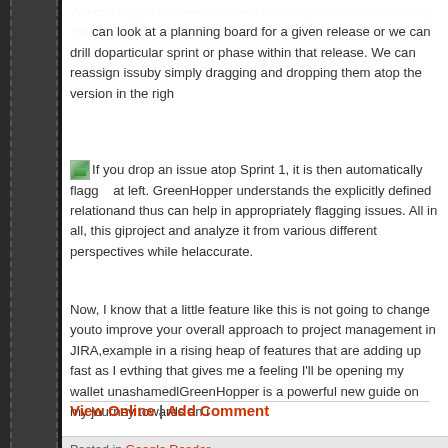We can toggle between different planning boards by changing the... can look at a planning board for a given release or we can drill do... particular sprint or phase within that release. We can reassign issu... by simply dragging and dropping them atop the version in the righ...
If you drop an issue atop Sprint 1, it is then automatically flagg... at left. GreenHopper understands the explicitly defined relation... and thus can help in appropriately flagging issues. All in all, this gi... project and analyze it from various different perspectives while hel... accurate.
Now, I know that a little feature like this is not going to change you... to improve your overall approach to project management in JIRA,... example in a rising heap of features that are adding up fast as I ev... thing that gives me a feeling I'll be opening my wallet unashamedl... GreenHopper is a powerful new guide on my journey towards an i...
Neo: What are you trying to tell me? That I can dodge bullets?
Morpheus: No, Neo. I'm trying to tell you that when you're ready,...
View Online | Add Comment
Posted in Google Reader